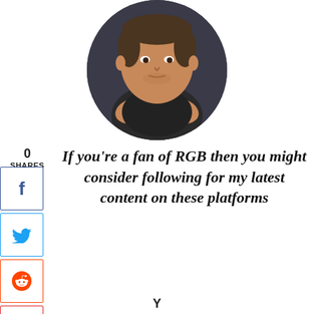[Figure (photo): Circular profile photo of a man with arms crossed wearing a black t-shirt, seated in a dark chair]
0
SHARES
[Figure (infographic): Social sharing buttons: Facebook (f), Twitter (bird), Reddit (alien), Flipboard (f)]
If you’re a fan of RGB then you might consider following for my latest content on these platforms
Y